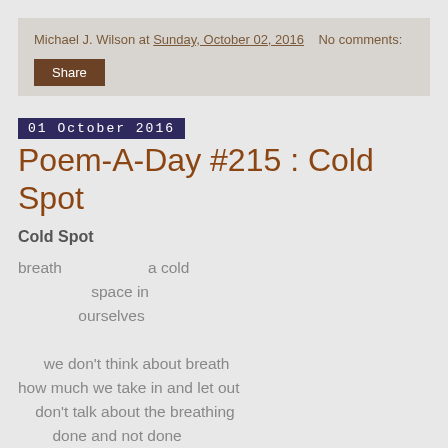Michael J. Wilson at Sunday, October 02, 2016    No comments:
Share
01 October 2016
Poem-A-Day #215 : Cold Spot
Cold Spot
breath                    a cold
                 space in
              ourselves

      we don't think about breath
how much we take in and let out
    don't talk about the breathing
        done and not done


                  can you
can it today